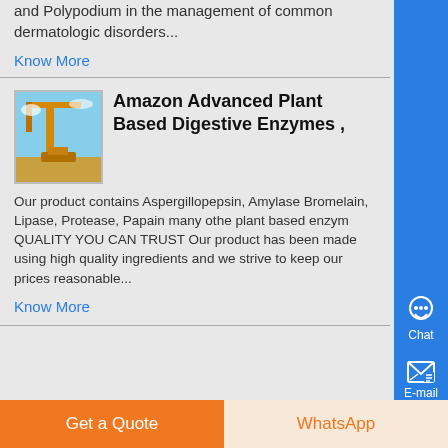and Polypodium in the management of common dermatologic disorders...
Know More
Amazon Advanced Plant Based Digestive Enzymes ,
[Figure (photo): Industrial crane or equipment against a blue sky background]
Our product contains Aspergillopepsin, Amylase Bromelain, Lipase, Protease, Papain many othe plant based enzym QUALITY YOU CAN TRUST Our product has been made using high quality ingredients and we strive to keep our prices reasonable...
Know More